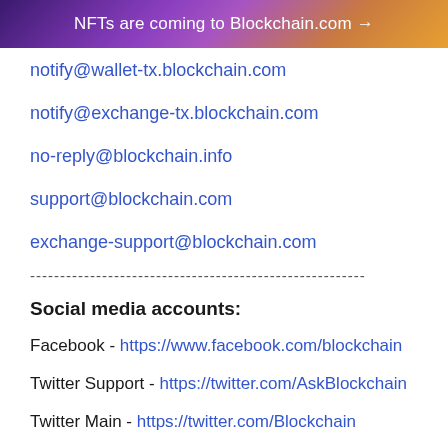NFTs are coming to Blockchain.com →
notify@wallet-tx.blockchain.com
notify@exchange-tx.blockchain.com
no-reply@blockchain.info
support@blockchain.com
exchange-support@blockchain.com
--------------------------------------------------------
Social media accounts:
Facebook - https://www.facebook.com/blockchain
Twitter Support - https://twitter.com/AskBlockchain
Twitter Main - https://twitter.com/Blockchain